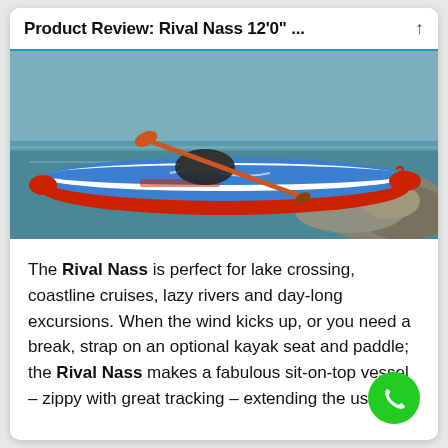Product Review: Rival Nass 12'0" ...
[Figure (photo): Photo of a Rival Nass 12'0" inflatable stand-up paddleboard with kayak seat and paddle attached, resting on rocky shoreline near water.]
The Rival Nass is perfect for lake crossing, coastline cruises, lazy rivers and day-long excursions. When the wind kicks up, or you need a break, strap on an optional kayak seat and paddle; the Rival Nass makes a fabulous sit-on-top vessel – zippy with great tracking – extending the usability.